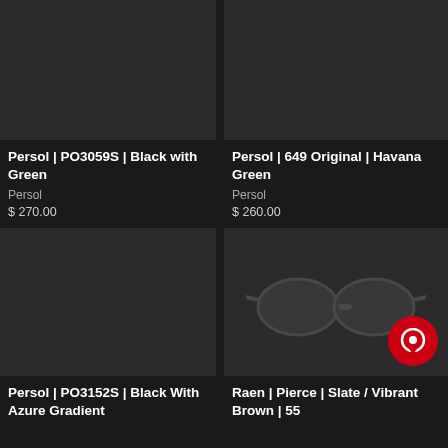[Figure (photo): Product image placeholder - dark background, top left]
Persol | PO3059S | Black with Green
Persol
$ 270.00
[Figure (photo): Product image placeholder - dark background, top right]
Persol | 649 Original | Havana Green
Persol
$ 260.00
[Figure (photo): Product image placeholder - dark background, bottom left]
Persol | PO3152S | Black With Azure Gradient
[Figure (photo): Product image - sunglasses visible on dark background, bottom right]
Raen | Pierce | Slate / Vibrant Brown | 55